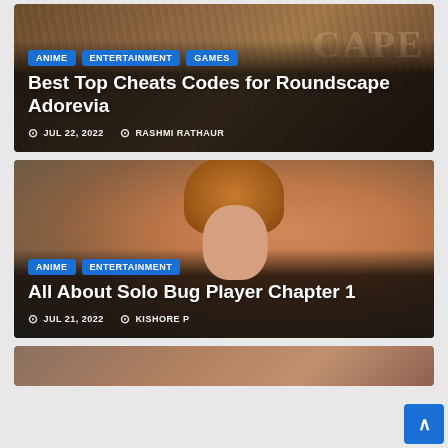[Figure (illustration): Article card with wood-textured background showing 'ROUNDSCAPE' watermark text. Contains category tags ANIME, ENTERTAINMENT, GAMES and article title about Roundscape Adorevia cheat codes.]
Best Top Cheats Codes for Roundscape Adorevia
JUL 22, 2022 RASHMI RATHAUR
[Figure (illustration): Article card with anime character image showing an orange-haired character with blue eyes and earrings. Contains category tags ANIME, ENTERTAINMENT and article title about Solo Bug Player Chapter 1.]
All About Solo Bug Player Chapter 1
JUL 21, 2022 KISHORE P
[Figure (illustration): Partial article card image visible at the bottom of the page showing a dusty, action scene background.]